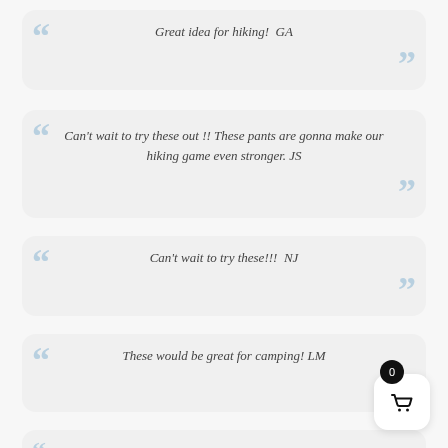Great idea for hiking!  GA
Can't wait to try these out !! These pants are gonna make our hiking game even stronger. JS
Can't wait to try these!!!  NJ
These would be great for camping! LM